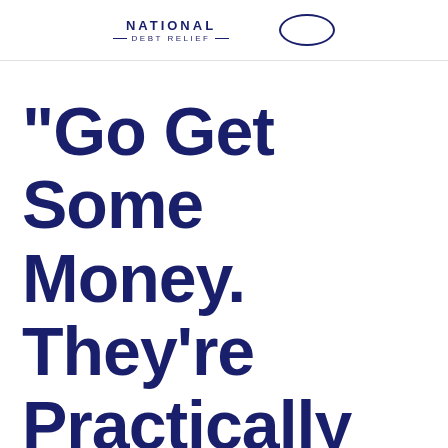NATIONAL DEBT RELIEF
“Go Get Some Money. They’re Practically Giving It Away”